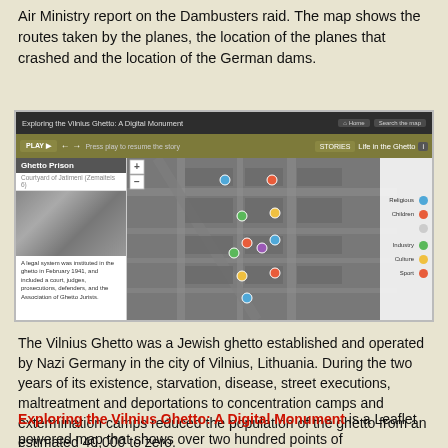Air Ministry report on the Dambusters raid. The map shows the routes taken by the planes, the location of the planes that crashed and the location of the German dams.
[Figure (screenshot): Screenshot of 'Exploring the Vilnius Ghetto: A Digital Monument' interactive web application showing a Leaflet map with colored location markers over Vilnius city streets, with a sidebar showing 'Ghetto Prison' information and legend with categories: Religious, Children, Industry, Culture, Sport.]
The Vilnius Ghetto was a Jewish ghetto established and operated by Nazi Germany in the city of Vilnius, Lithuania. During the two years of its existence, starvation, disease, street executions, maltreatment and deportations to concentration camps and extermination camps reduced the population of the ghetto from an estimated 40,000 to zero.
Exploring the Vilnius Ghetto: A Digital Monument is a Leaflet powered map that shows over two hundred points of